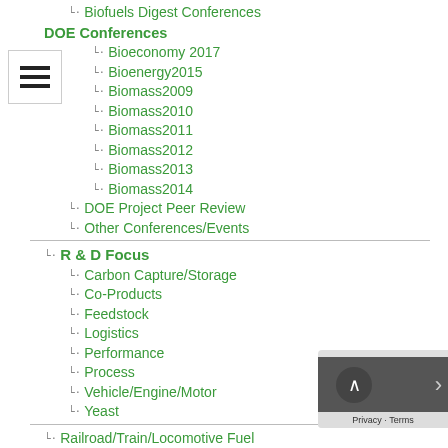Biofuels Digest Conferences
DOE Conferences
Bioeconomy 2017
Bioenergy2015
Biomass2009
Biomass2010
Biomass2011
Biomass2012
Biomass2013
Biomass2014
DOE Project Peer Review
Other Conferences/Events
R & D Focus
Carbon Capture/Storage
Co-Products
Feedstock
Logistics
Performance
Process
Vehicle/Engine/Motor
Yeast
Railroad/Train/Locomotive Fuel
Resources